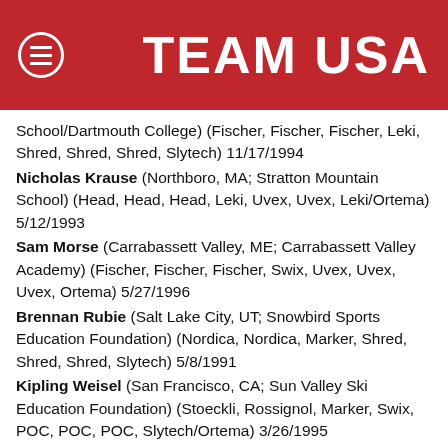TEAM USA
School/Dartmouth College) (Fischer, Fischer, Fischer, Leki, Shred, Shred, Shred, Slytech) 11/17/1994
Nicholas Krause (Northboro, MA; Stratton Mountain School) (Head, Head, Head, Leki, Uvex, Uvex, Leki/Ortema) 5/12/1993
Sam Morse (Carrabassett Valley, ME; Carrabassett Valley Academy) (Fischer, Fischer, Fischer, Swix, Uvex, Uvex, Uvex, Ortema) 5/27/1996
Brennan Rubie (Salt Lake City, UT; Snowbird Sports Education Foundation) (Nordica, Nordica, Marker, Shred, Shred, Shred, Slytech) 5/8/1991
Kipling Weisel (San Francisco, CA; Sun Valley Ski Education Foundation) (Stoeckli, Rossignol, Marker, Swix, POC, POC, POC, Slytech/Ortema) 3/26/1995